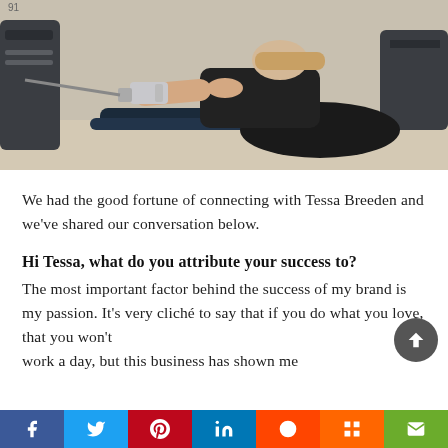[Figure (photo): Woman using a rowing machine in a gym, wearing black athletic wear, pulling a cable handle toward her chest. Gym equipment visible in background.]
We had the good fortune of connecting with Tessa Breeden and we've shared our conversation below.
Hi Tessa, what do you attribute your success to?
The most important factor behind the success of my brand is my passion. It's very cliché to say that if you do what you love, that you won't work a day, but this business has shown me